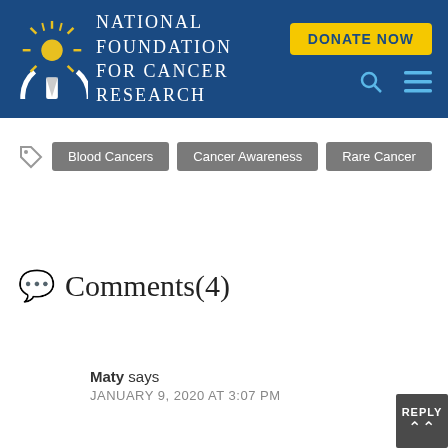[Figure (logo): National Foundation for Cancer Research logo with torch/pencil icon and text on dark blue background, with yellow DONATE NOW button and cyan search/menu icons]
Blood Cancers
Cancer Awareness
Rare Cancer
Comments(4)
Maty says
JANUARY 9, 2020 AT 3:07 PM